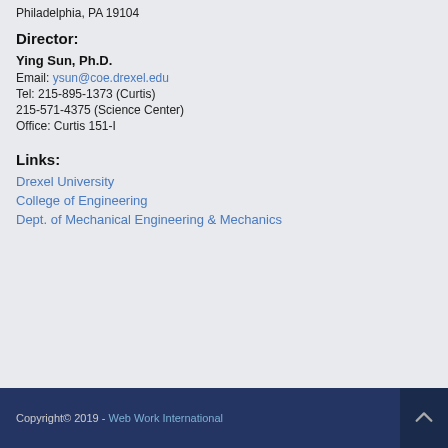Philadelphia, PA 19104
Director:
Ying Sun, Ph.D.
Email: ysun@coe.drexel.edu
Tel: 215-895-1373 (Curtis)
215-571-4375 (Science Center)
Office: Curtis 151-I
Links:
Drexel University
College of Engineering
Dept. of Mechanical Engineering & Mechanics
Copyright© 2019 - Web Work International